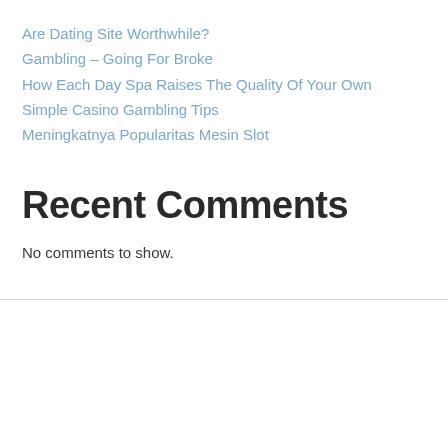Are Dating Site Worthwhile?
Gambling – Going For Broke
How Each Day Spa Raises The Quality Of Your Own
Simple Casino Gambling Tips
Meningkatnya Popularitas Mesin Slot
Recent Comments
No comments to show.